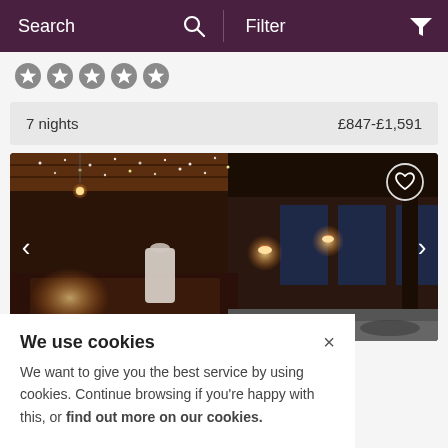Search | Filter
[Figure (other): Five gold/grey star rating icons]
7 nights   £847-£1,591
[Figure (photo): Hotel interior and exterior photo showing warmly lit wooden corridor with twinkling ceiling lights and an exterior patio with wall sconces at dusk]
We use cookies
We want to give you the best service by using cookies. Continue browsing if you're happy with this, or find out more on our cookies.